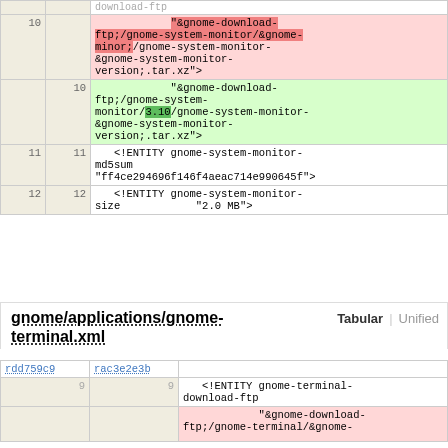| old | new | code |
| --- | --- | --- |
|  | 10 | "&gnome-download-ftp;/gnome-system-monitor/&gnome-minor;/gnome-system-monitor-&gnome-system-monitor-version;.tar.xz"> |
| 10 |  | "&gnome-download-ftp;/gnome-system-monitor/3.10/gnome-system-monitor-&gnome-system-monitor-version;.tar.xz"> |
| 11 | 11 | <!ENTITY gnome-system-monitor-md5sum "ff4ce294696f146f4aeac714e990645f"> |
| 12 | 12 | <!ENTITY gnome-system-monitor-size       "2.0 MB"> |
gnome/applications/gnome-terminal.xml
| rdd759c9 | rac3e2e3b | code |
| --- | --- | --- |
| 9 | 9 | <!ENTITY gnome-terminal-download-ftp |
|  |  | "&gnome-download-ftp;/gnome-terminal/&gnome-... |